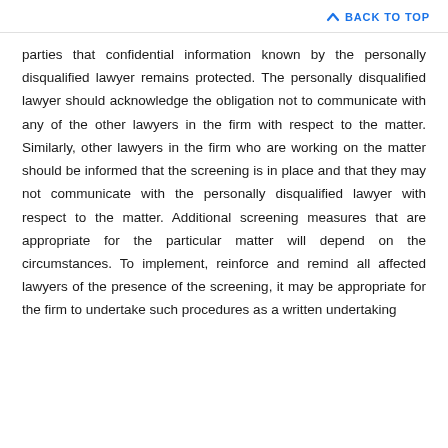BACK TO TOP
parties that confidential information known by the personally disqualified lawyer remains protected. The personally disqualified lawyer should acknowledge the obligation not to communicate with any of the other lawyers in the firm with respect to the matter. Similarly, other lawyers in the firm who are working on the matter should be informed that the screening is in place and that they may not communicate with the personally disqualified lawyer with respect to the matter. Additional screening measures that are appropriate for the particular matter will depend on the circumstances. To implement, reinforce and remind all affected lawyers of the presence of the screening, it may be appropriate for the firm to undertake such procedures as a written undertaking